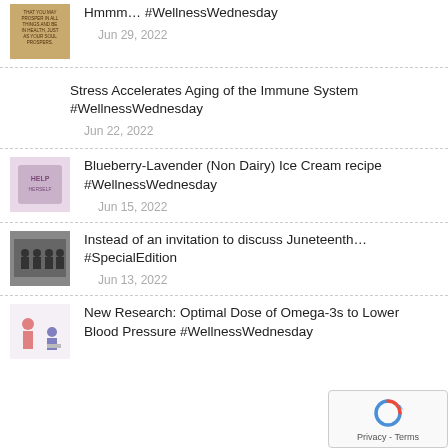Hmmm… #WellnessWednesday
Jun 29, 2022
Stress Accelerates Aging of the Immune System #WellnessWednesday
Jun 22, 2022
Blueberry-Lavender (Non Dairy) Ice Cream recipe #WellnessWednesday
Jun 15, 2022
Instead of an invitation to discuss Juneteenth…#SpecialEdition
Jun 13, 2022
New Research: Optimal Dose of Omega-3s to Lower Blood Pressure #WellnessWednesday